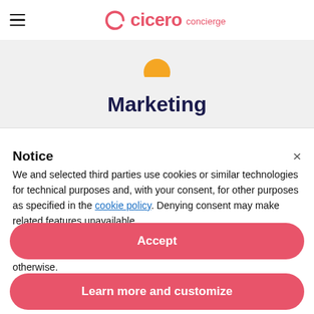cicero concierge
Marketing
Notice
We and selected third parties use cookies or similar technologies for technical purposes and, with your consent, for other purposes as specified in the cookie policy. Denying consent may make related features unavailable.
You can consent to the use of such technologies by using the “Accept” button, by closing this notice or by continuing to browse otherwise.
Accept
Learn more and customize